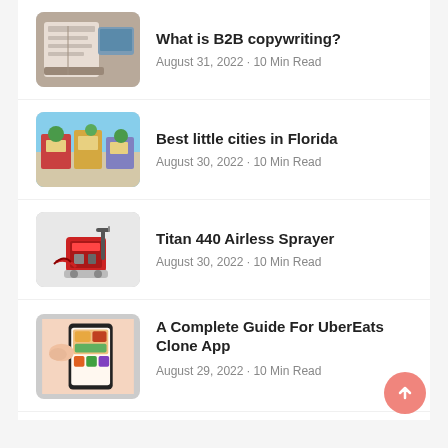What is B2B copywriting? · August 31, 2022 · 10 Min Read
[Figure (photo): Open notebook with pen on a desk, laptop in background]
Best little cities in Florida · August 30, 2022 · 10 Min Read
[Figure (photo): Small town main street with colorful storefronts and trees]
Titan 440 Airless Sprayer · August 30, 2022 · 10 Min Read
[Figure (photo): Red Titan 440 airless paint sprayer machine]
A Complete Guide For UberEats Clone App · August 29, 2022 · 10 Min Read
[Figure (photo): Person pressing finger on smartphone with food images]